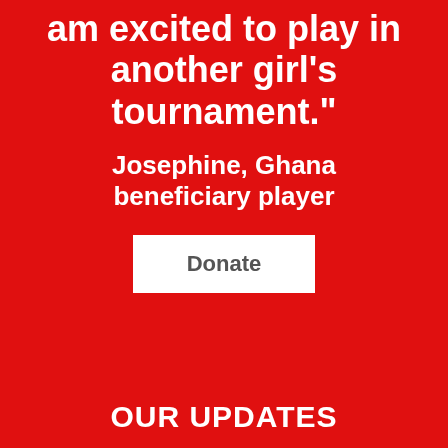am excited to play in another girl's tournament."
Josephine, Ghana beneficiary player
Donate
OUR UPDATES